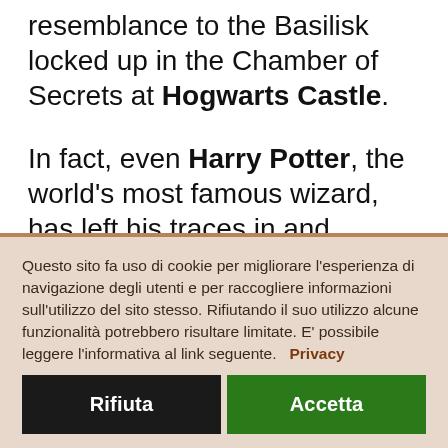resemblance to the Basilisk locked up in the Chamber of Secrets at Hogwarts Castle. In fact, even Harry Potter, the world's most famous wizard, has left his traces in and around Todi: from the witches' story, to the underground city, passing through
Questo sito fa uso di cookie per migliorare l'esperienza di navigazione degli utenti e per raccogliere informazioni sull'utilizzo del sito stesso. Rifiutando il suo utilizzo alcune funzionalità potrebbero risultare limitate. E' possibile leggere l'informativa al link seguente.   Privacy